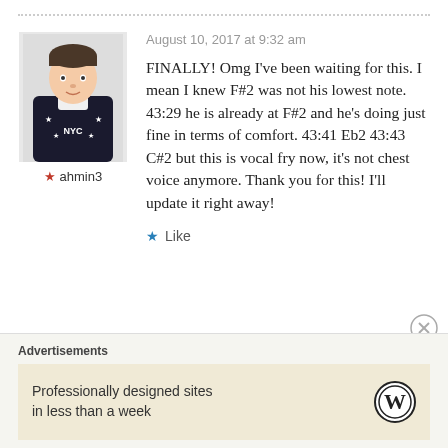[Figure (photo): Avatar photo of a young man in a dark NYC sweatshirt]
★ ahmin3
August 10, 2017 at 9:32 am
FINALLY! Omg I've been waiting for this. I mean I knew F#2 was not his lowest note. 43:29 he is already at F#2 and he's doing just fine in terms of comfort. 43:41 Eb2 43:43 C#2 but this is vocal fry now, it's not chest voice anymore. Thank you for this! I'll update it right away!
★ Like
Advertisements
Professionally designed sites in less than a week